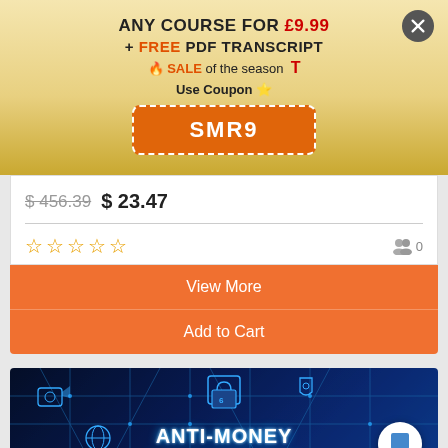ANY COURSE FOR £9.99
+ FREE PDF TRANSCRIPT
🔥 SALE of the season T
Use Coupon
SMR9
$ 456.39  $ 23.47
[Figure (infographic): Five empty star rating icons in orange/gold color, and a group/students icon with '0' count on the right]
View More
Add to Cart
[Figure (photo): Anti-Money Laundering promotional banner with blue circuit board background, icons for security, globe, and text reading ANTI-MONEY LAUNDERING! in bold white letters. A white chat bubble icon is in the bottom right.]